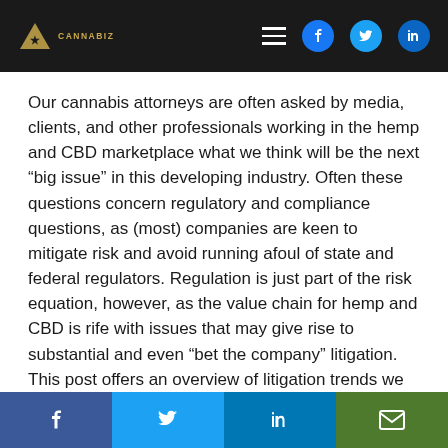CANNABIZ [logo with hamburger menu and social icons: Facebook, Twitter, LinkedIn]
Our cannabis attorneys are often asked by media, clients, and other professionals working in the hemp and CBD marketplace what we think will be the next “big issue” in this developing industry. Often these questions concern regulatory and compliance questions, as (most) companies are keen to mitigate risk and avoid running afoul of state and federal regulators. Regulation is just part of the risk equation, however, as the value chain for hemp and CBD is rife with issues that may give rise to substantial and even “bet the company” litigation. This post offers an overview of litigation trends we are seeing, or in some cases predicting, that hemp/CBD producers, processors, manufacturers, and retailers should keep on their radar.
Share buttons: Facebook, Twitter, LinkedIn, Email